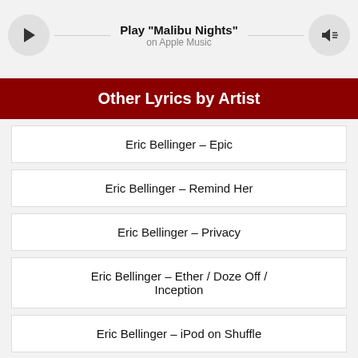[Figure (infographic): Play bar with play button, 'Play "Malibu Nights"' text, 'on Apple Music' subtitle, and volume button]
Other Lyrics by Artist
Eric Bellinger – Epic
Eric Bellinger – Remind Her
Eric Bellinger – Privacy
Eric Bellinger – Ether / Doze Off / Inception
Eric Bellinger – iPod on Shuffle
Eric Bellinger – Eazy